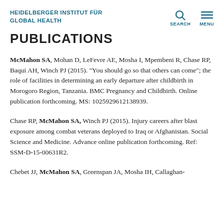HEIDELBERGER INSTITUT FÜR GLOBAL HEALTH
PUBLICATIONS
McMahon SA, Mohan D, LeFevre AE, Mosha I, Mpembeni R, Chase RP, Baqui AH, Winch PJ (2015). "You should go so that others can come"; the role of facilities in determining an early departure after childbirth in Morogoro Region, Tanzania. BMC Pregnancy and Childbirth. Online publication forthcoming. MS: 1025929612138939.
Chase RP, McMahon SA, Winch PJ (2015). Injury careers after blast exposure among combat veterans deployed to Iraq or Afghanistan. Social Science and Medicine. Advance online publication forthcoming. Ref: SSM-D-15-00631R2.
Chebet JJ, McMahon SA, Greenspan JA, Mosha IH, Callaghan-